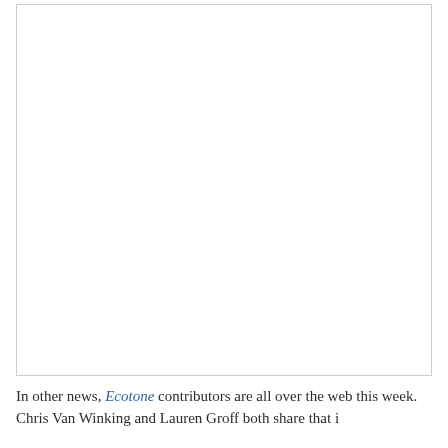[Figure (other): A large blank white image placeholder with a thin border occupying the top portion of the page.]
In other news, Ecotone contributors are all over the web this week. Chris Van Winking and Lauren Groff both share that i